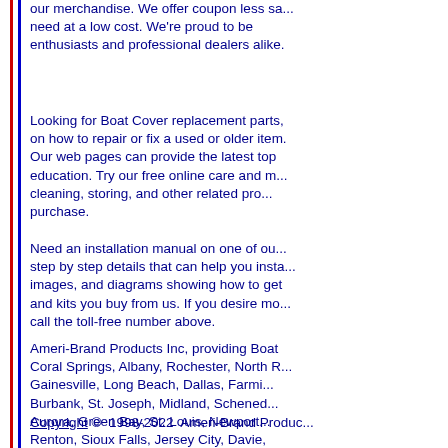our merchandise. We offer coupon less sa... need at a low cost. We're proud to be enthusiasts and professional dealers alike.
Looking for Boat Cover replacement parts, on how to repair or fix a used or older item. Our web pages can provide the latest top education. Try our free online care and m... cleaning, storing, and other related pro... purchase.
Need an installation manual on one of our... step by step details that can help you insta... images, and diagrams showing how to get and kits you buy from us. If you desire mo... call the toll-free number above.
Ameri-Brand Products Inc, providing Boat Coral Springs, Albany, Rochester, North R... Gainesville, Long Beach, Dallas, Farmi... Burbank, St. Joseph, Midland, Schened... Aurora, Green Bay, St. Louis, Newport... Renton, Sioux Falls, Jersey City, Davie, Largo, Citrus Heights, Washington, Re... Tracy, Evanston, Naperville, Vacaville, Se... Fullerton, Manteca, Dearborn, and Pharr w...
Copyright © 1998-2022 Ameri-Brand Produc...